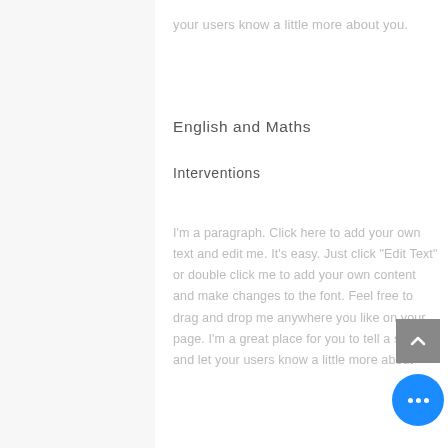your users know a little more about you.
English and Maths
Interventions
I'm a paragraph. Click here to add your own text and edit me. It's easy. Just click "Edit Text" or double click me to add your own content and make changes to the font. Feel free to drag and drop me anywhere you like on your page. I'm a great place for you to tell a story and let your users know a little more about